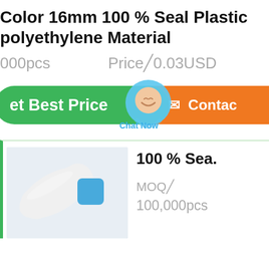Color 16mm 100 % Seal Plastic Polyethylene Material
000pcs   Price 0.03USD
[Figure (screenshot): Green 'Get Best Price' button, orange 'Contact' button, and a 'Chat Now' circular chat widget overlaid between them]
[Figure (photo): Photo of a white plastic tube/pouch with a blue square cap, lying on a white surface]
100 % Sea.
MOQ
100,000pcs